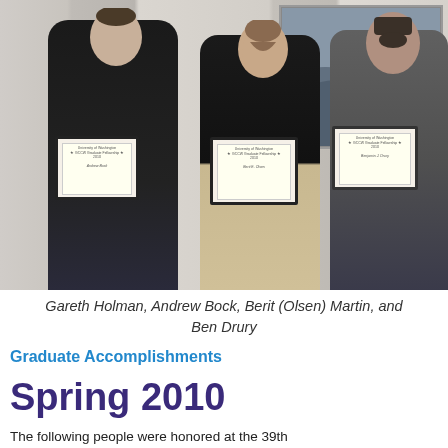[Figure (photo): Group photo of four people standing and holding award certificates/plaques: Gareth Holman (partially visible on left), Andrew Bock (tall, black sweater), Berit (Olsen) Martin (center, black top), and Ben Drury (right, grey shirt). Black-and-white landscape photo visible on wall behind them.]
Gareth Holman, Andrew Bock, Berit (Olsen) Martin, and Ben Drury
Graduate Accomplishments
Spring 2010
The following people were honored at the 39th